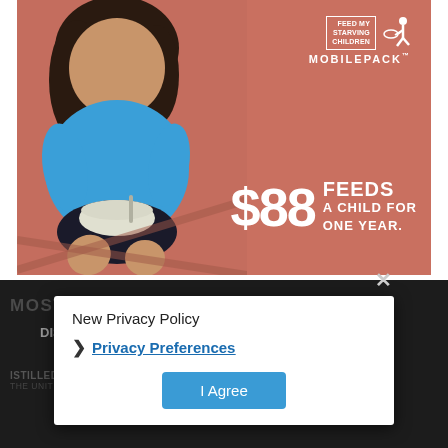[Figure (photo): Advertisement for Feed My Starving Children MobilePack showing a young Latino child sitting on the ground holding a bowl of food on a terra cotta/salmon colored background. Text overlay reads: FEED MY STARVING CHILDREN MOBILEPACK $88 FEEDS A CHILD FOR ONE YEAR.]
MOST POPULAR
DISCUS Adds Four New Partners in Q2
ISTILLED SPIRITS.CC
THE UNITED STATES
New Privacy Policy
Privacy Preferences
I Agree